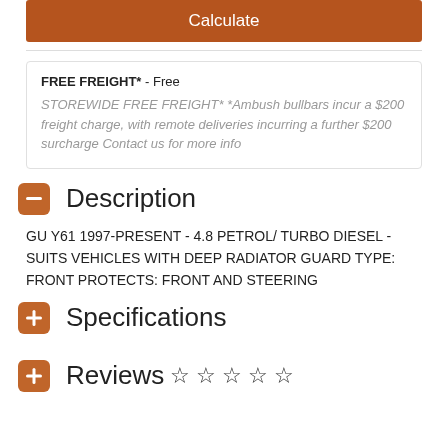Calculate
FREE FREIGHT* - Free
STOREWIDE FREE FREIGHT* *Ambush bullbars incur a $200 freight charge, with remote deliveries incurring a further $200 surcharge Contact us for more info
Description
GU Y61 1997-PRESENT - 4.8 PETROL/ TURBO DIESEL - SUITS VEHICLES WITH DEEP RADIATOR GUARD TYPE: FRONT PROTECTS: FRONT AND STEERING
Specifications
Reviews ☆ ☆ ☆ ☆ ☆